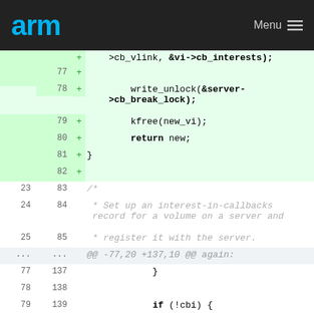arm  Menu
[Figure (screenshot): Code diff view showing lines 77-82 (added, green) and lines 23-25/83-85 (context/comment), hunk marker @@ -77,20 +137,10 @@ again:, lines 77-79/137-139 (context), line 80 (deleted, red) with kzalloc(sizeof(struct afs_cb_interest), GFP_KERNEL), and line 140 (added, green)]